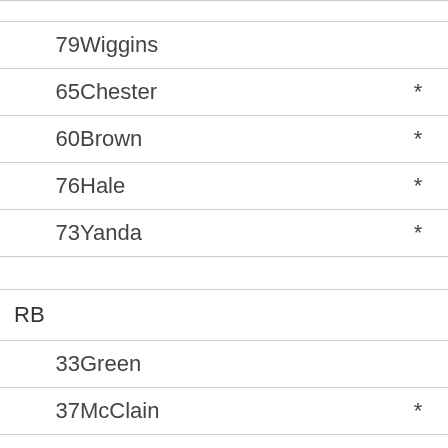79   Wiggins
65   Chester   *
60   Brown   *
76   Hale   *
73   Yanda   *
RB
33   Green
37   McClain   *